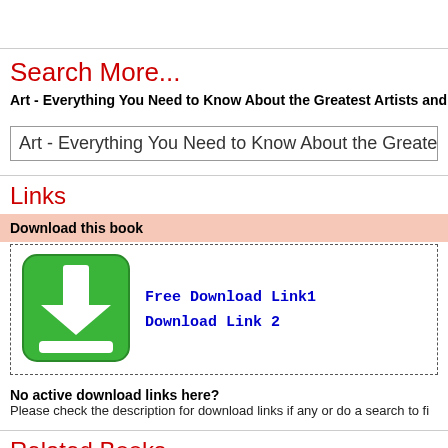Search More...
Art - Everything You Need to Know About the Greatest Artists and Th
Art - Everything You Need to Know About the Greatest Artis
Links
Download this book
Free Download Link1
Download Link 2
No active download links here?
Please check the description for download links if any or do a search to fi
Related Books
Ebooks list page : 27415